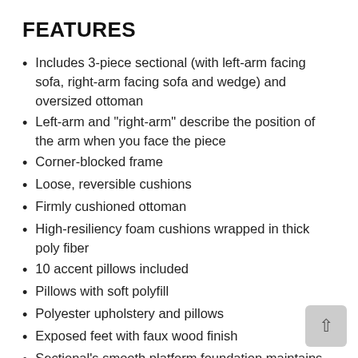FEATURES
Includes 3-piece sectional (with left-arm facing sofa, right-arm facing sofa and wedge) and oversized ottoman
Left-arm and "right-arm" describe the position of the arm when you face the piece
Corner-blocked frame
Loose, reversible cushions
Firmly cushioned ottoman
High-resiliency foam cushions wrapped in thick poly fiber
10 accent pillows included
Pillows with soft polyfill
Polyester upholstery and pillows
Exposed feet with faux wood finish
Sectional's smooth platform foundation maintains tight, wrinkle-free look without dips or sags that can occur over time with sinuous spring foundations
Platform foundation system resists sagging